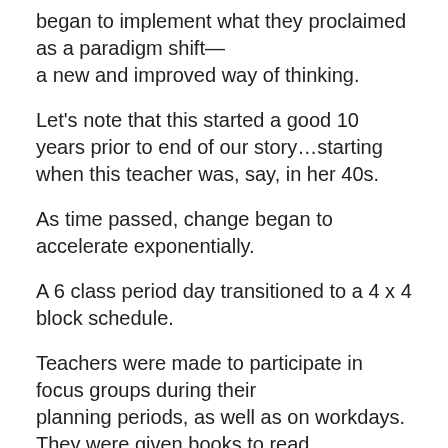began to implement what they proclaimed as a paradigm shift—
a new and improved way of thinking.
Let's note that this started a good 10 years prior to end of our story…starting when this teacher was, say, in her 40s.
As time passed, change began to accelerate exponentially.
A 6 class period day transitioned to a 4 x 4 block schedule.
Teachers were made to participate in focus groups during their
planning periods, as well as on workdays.
They were given books to read.
Think book club a la pedagogy.
Speakers were brought in to offer new ways of looking at